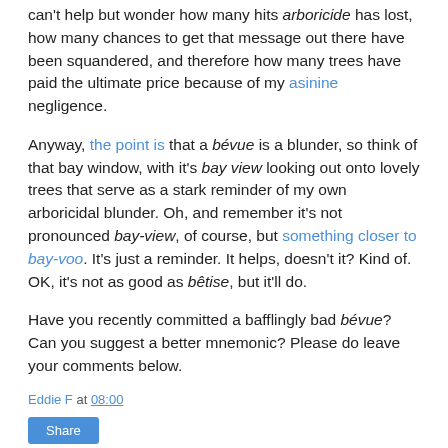can't help but wonder how many hits arboricide has lost, how many chances to get that message out there have been squandered, and therefore how many trees have paid the ultimate price because of my asinine negligence.
Anyway, the point is that a bévue is a blunder, so think of that bay window, with it's bay view looking out onto lovely trees that serve as a stark reminder of my own arboricidal blunder. Oh, and remember it's not pronounced bay-view, of course, but something closer to bay-voo. It's just a reminder. It helps, doesn't it? Kind of. OK, it's not as good as bêtise, but it'll do.
Have you recently committed a bafflingly bad bévue? Can you suggest a better mnemonic? Please do leave your comments below.
Eddie F at 08:00
Share
2 comments: